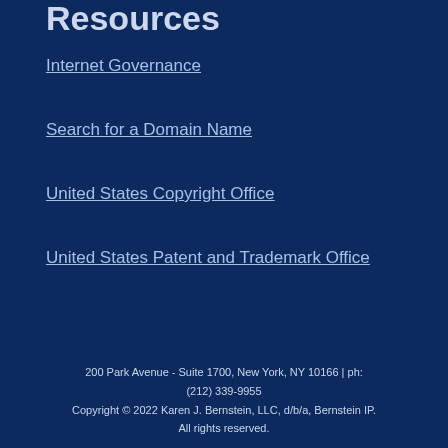Resources
Internet Governance
Search for a Domain Name
United States Copyright Office
United States Patent and Trademark Office
200 Park Avenue - Suite 1700, New York, NY 10166 | ph: (212) 339-9955
Copyright © 2022 Karen J. Bernstein, LLC, d/b/a, Bernstein IP.
All rights reserved.